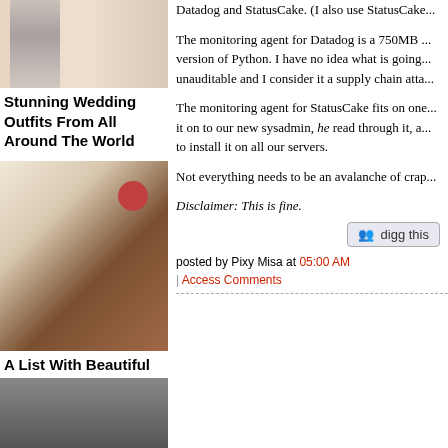[Figure (photo): Top partial image - wedding outfit photo cropped at top]
Stunning Wedding Outfits From All Around The World
[Figure (photo): Woman in red dress with hands raised to her hair]
A List With Beautiful And Talented French Actresses
Datadog and StatusCake. (I also use StatusCake...
The monitoring agent for Datadog is a 750MB ... version of Python. I have no idea what is going ... unauditable and I consider it a supply chain atta...
The monitoring agent for StatusCake fits on one ... it on to our new sysadmin, he read through it, a... to install it on all our servers.
Not everything needs to be an avalanche of crap...
Disclaimer: This is fine.
posted by Pixy Misa at 05:00 AM
| Access Comments
[Figure (photo): Bottom partial photo - person cropped at bottom]